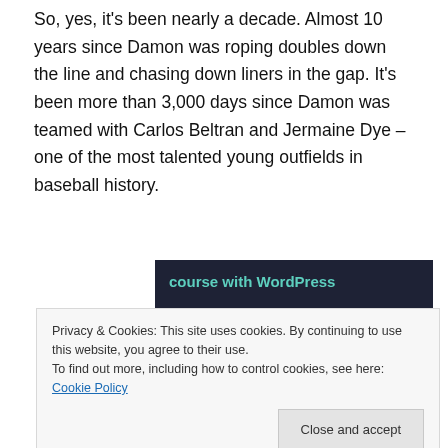So, yes, it's been nearly a decade. Almost 10 years since Damon was roping doubles down the line and chasing down liners in the gap. It's been more than 3,000 days since Damon was teamed with Carlos Beltran and Jermaine Dye – one of the most talented young outfields in baseball history.
[Figure (screenshot): Advertisement banner with dark navy background showing 'course with WordPress' text in teal and a 'Learn More' teal rounded button]
Privacy & Cookies: This site uses cookies. By continuing to use this website, you agree to their use.
To find out more, including how to control cookies, see here: Cookie Policy
Close and accept